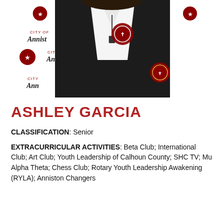[Figure (photo): Portrait photo of Ashley Garcia wearing a black cardigan over a white collared shirt, with a school emblem pin and necklace. Background is a City of Anniston step-and-repeat banner with logos.]
ASHLEY GARCIA
CLASSIFICATION: Senior
EXTRACURRICULAR ACTIVITIES: Beta Club; International Club; Art Club; Youth Leadership of Calhoun County; SHC TV; Mu Alpha Theta; Chess Club; Rotary Youth Leadership Awakening (RYLA); Anniston Changers